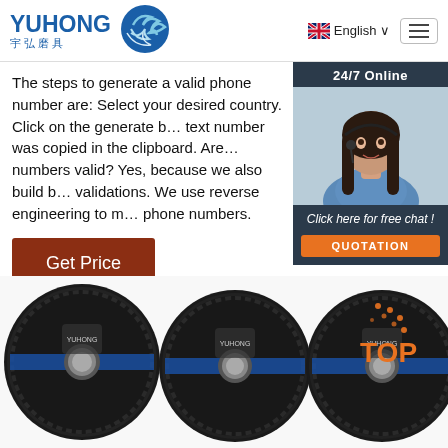[Figure (logo): YUHONG logo with Chinese text 宇弘磨具 and blue wave icon]
English
The steps to generate a valid phone number are: Select your desired country. Click on the generate b... text number was copied in the clipboard. Are... numbers valid? Yes, because we also build b... validations. We use reverse engineering to m... phone numbers.
[Figure (photo): 24/7 Online chat widget with customer service representative photo, italic text 'Click here for free chat!' and orange QUOTATION button]
Get Price
[Figure (photo): Three black grinding/cutting discs with YUHONG branding and blue stripe, with orange TOP badge in bottom right]